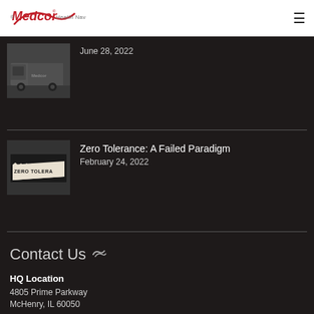Medcor Health Navigation
June 28, 2022
Zero Tolerance: A Failed Paradigm
February 24, 2022
Contact Us
HQ Location
4805 Prime Parkway
McHenry, IL 60050